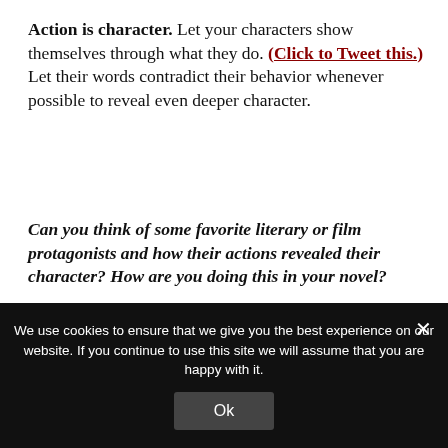Action is character. Let your characters show themselves through what they do. (Click to Tweet this.) Let their words contradict their behavior whenever possible to reveal even deeper character.
Can you think of some favorite literary or film protagonists and how their actions revealed their character? How are you doing this in your novel?
[Figure (other): Social sharing buttons: Facebook (blue), Twitter (light blue), Pinterest (red), Email (green)]
We use cookies to ensure that we give you the best experience on our website. If you continue to use this site we will assume that you are happy with it.